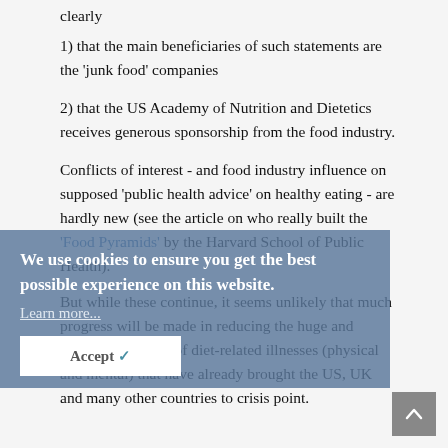clearly
1) that the main beneficiaries of such statements are the 'junk food' companies
2) that the US Academy of Nutrition and Dietetics receives generous sponsorship from the food industry.
Conflicts of interest - and food industry influence on supposed 'public health advice' on healthy eating - are hardly new (see the article on who really built the 'Food Pyramids' by the Harvard School of Public Health).
But while these continue, it seems unlikely that much progress will be made in reducing the huge and increasing burden of diet-related illnesses (physical and mental) that have already brought the US, UK and many other countries to crisis point.
We use cookies to ensure you get the best possible experience on this website.
Learn more...
Accept ✓